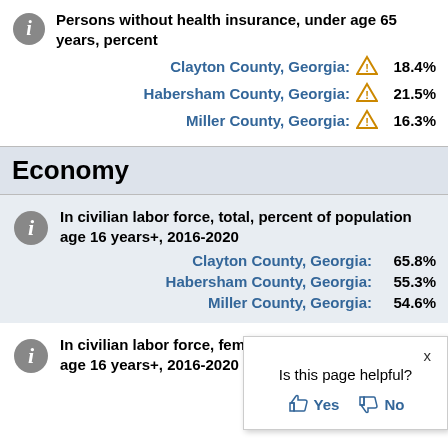Persons without health insurance, under age 65 years, percent
Clayton County, Georgia: ⚠ 18.4%
Habersham County, Georgia: ⚠ 21.5%
Miller County, Georgia: ⚠ 16.3%
Economy
In civilian labor force, total, percent of population age 16 years+, 2016-2020
Clayton County, Georgia: 65.8%
Habersham County, Georgia: 55.3%
Miller County, Georgia: 54.6%
In civilian labor force, female, percent of population age 16 years+, 2016-2020
Clayton County (partially visible)
Habersham County (partially visible)
[Figure (other): Popup overlay: 'Is this page helpful? Yes / No' with X close button]